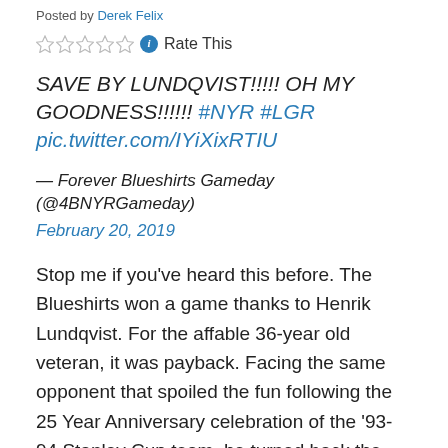Posted by Derek Felix
☆☆☆☆☆ ℹ Rate This
SAVE BY LUNDQVIST!!!!! OH MY GOODNESS!!!!!! #NYR #LGR pic.twitter.com/IYiXixRTIU
— Forever Blueshirts Gameday (@4BNYRGameday)
February 20, 2019
Stop me if you've heard this before. The Blueshirts won a game thanks to Henrik Lundqvist. For the affable 36-year old veteran, it was payback. Facing the same opponent that spoiled the fun following the 25 Year Anniversary celebration of the '93-94 Stanley Cup team, he turned back the clock with a vintage performance by making 43 saves to carry the Rangers past the Hurricanes 2-1 in Raleigh. Take a look at the two save sequence to deny